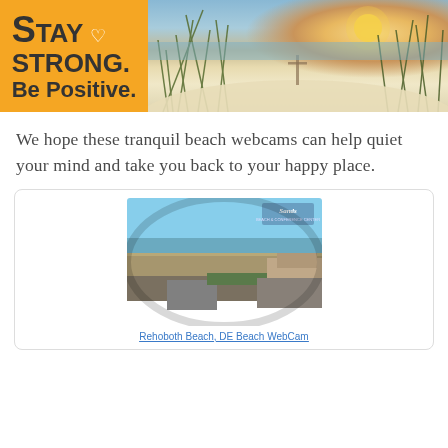[Figure (illustration): Banner image split into two sections: left side is a yellow/amber background with bold text 'STAY STRONG. Be Positive.' with a heart icon; right side is a beach scene photo showing sand dunes with grass and ocean at sunset.]
We hope these tranquil beach webcams can help quiet your mind and take you back to your happy place.
[Figure (photo): Aerial webcam view of Rehoboth Beach, DE showing a crowded beach with ocean, boardwalk, and surrounding area. 'Sands' logo visible in upper right corner of the webcam image.]
Rehoboth Beach, DE Beach WebCam